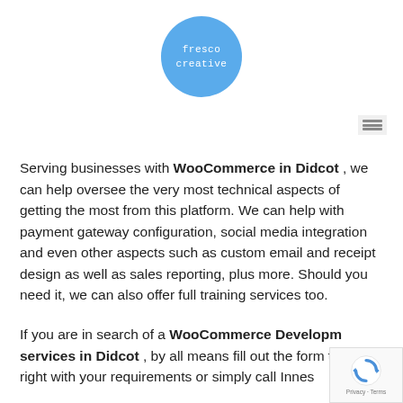[Figure (logo): Fresco Creative logo — blue circle with white monospace text reading 'fresco creative']
[Figure (other): Hamburger menu icon — three horizontal grey lines on a light grey background, positioned top right]
Serving businesses with WooCommerce in Didcot , we can help oversee the very most technical aspects of getting the most from this platform. We can help with payment gateway configuration, social media integration and even other aspects such as custom email and receipt design as well as sales reporting, plus more. Should you need it, we can also offer full training services too.
If you are in search of a WooCommerce Developm services in Didcot , by all means fill out the form to right with your requirements or simply call Innes
[Figure (other): Google reCAPTCHA badge — blue spinning arrows icon with 'Privacy · Terms' text below]